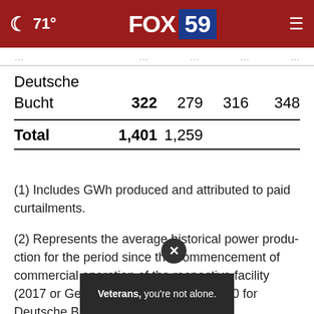71° FOX 59
|  |  |  |  |  |
| --- | --- | --- | --- | --- |
| Deutsche |  |  |  |  |
| Bucht | 322 | 279 | 316 | 348 |
| Total | 1,401 | 1,259 |  |  |
(1) Includes GWh produced and attributed to paid curtailments.
(2) Represents the average historical power production for the period since the commencement of commercial operation of the respective facility (2017 or Gemini Nordsee One and 2020 for Deutsche Bucht) and excl. unpaid...